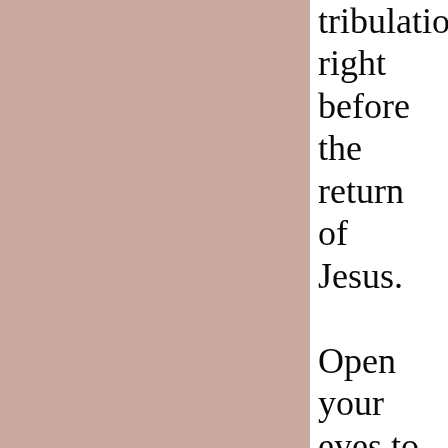tribulation right before the return of Jesus. Open your eyes to the TRUTH my dear brothers and sisters in the Lord and my dear Muslim readers